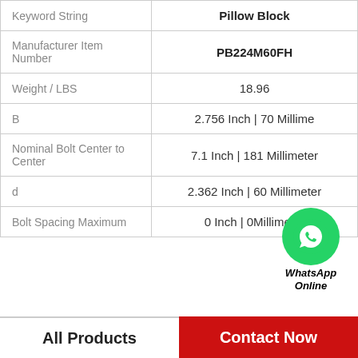| Property | Value |
| --- | --- |
| Keyword String | Pillow Block |
| Manufacturer Item Number | PB224M60FH |
| Weight / LBS | 18.96 |
| B | 2.756 Inch | 70 Millimeter |
| Nominal Bolt Center to Center | 7.1 Inch | 181 Millimeter |
| d | 2.362 Inch | 60 Millimeter |
| Bolt Spacing Maximum | 0 Inch | 0Millimeter |
All Products   Contact Now